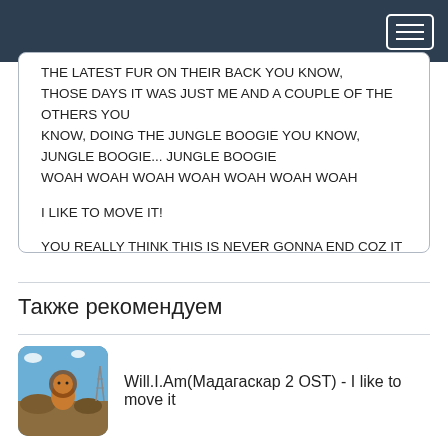THE LATEST FUR ON THEIR BACK YOU KNOW, THOSE DAYS IT WAS JUST ME AND A COUPLE OF THE OTHERS YOU KNOW, DOING THE JUNGLE BOOGIE YOU KNOW, JUNGLE BOOGIE... JUNGLE BOOGIE WOAH WOAH WOAH WOAH WOAH WOAH WOAH

I LIKE TO MOVE IT!

YOU REALLY THINK THIS IS NEVER GONNA END COZ IT IS 3,2,1

NOT BAD EH? I LIKE IT
Также рекомендуем
[Figure (photo): Thumbnail image for Madagascar 2 OST song, showing animated characters]
Will.I.Am(Мадагаскар 2 OST) - I like to move it